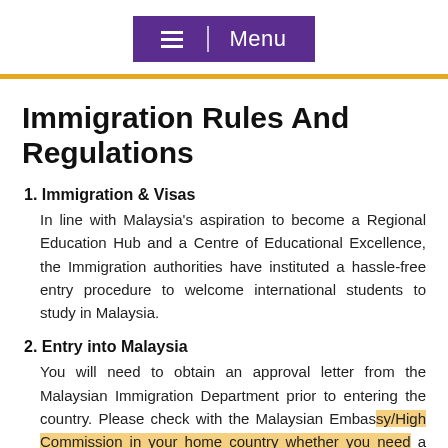Menu
Immigration Rules And Regulations
1. Immigration & Visas
In line with Malaysia's aspiration to become a Regional Education Hub and a Centre of Educational Excellence, the Immigration authorities have instituted a hassle-free entry procedure to welcome international students to study in Malaysia.
2. Entry into Malaysia
You will need to obtain an approval letter from the Malaysian Immigration Department prior to entering the country. Please check with the Malaysian Embassy/High Commission in your home country whether you need a visa to enter into Malaysia before you purchase the air